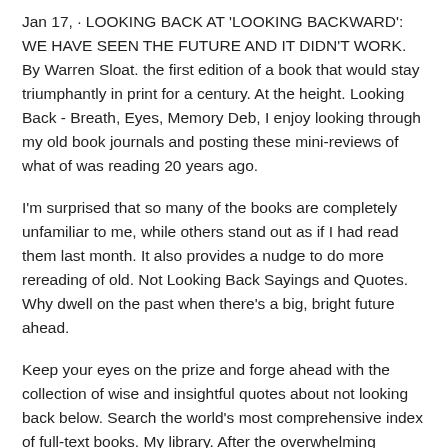Jan 17,  · LOOKING BACK AT 'LOOKING BACKWARD': WE HAVE SEEN THE FUTURE AND IT DIDN'T WORK. By Warren Sloat. the first edition of a book that would stay triumphantly in print for a century. At the height. Looking Back - Breath, Eyes, Memory Deb, I enjoy looking through my old book journals and posting these mini-reviews of what of was reading 20 years ago.
I'm surprised that so many of the books are completely unfamiliar to me, while others stand out as if I had read them last month. It also provides a nudge to do more rereading of old. Not Looking Back Sayings and Quotes. Why dwell on the past when there's a big, bright future ahead.
Keep your eyes on the prize and forge ahead with the collection of wise and insightful quotes about not looking back below. Search the world's most comprehensive index of full-text books. My library. After the overwhelming success of our first book, The Day is pleased to bring our readers a second beautiful hard-bound book.
This heirloom-quality coffee-table book picks up where our last book left off. More great people, the mid-1970s and 1980s. New chapters...